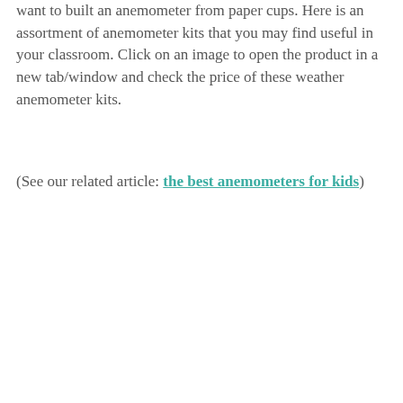want to built an anemometer from paper cups. Here is an assortment of anemometer kits that you may find useful in your classroom. Click on an image to open the product in a new tab/window and check the price of these weather anemometer kits.
(See our related article: the best anemometers for kids)